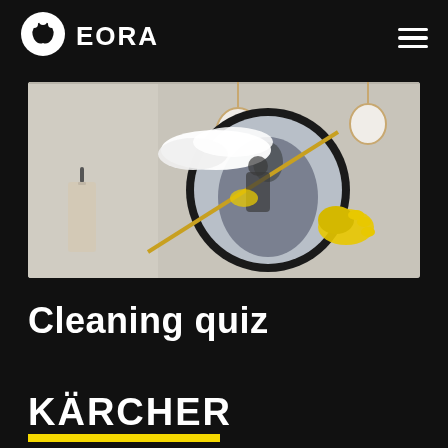EORA
[Figure (photo): Person wearing yellow rubber gloves cleaning a round black-framed bathroom mirror with a fluffy duster/mop. Pendant lights visible in background.]
Cleaning quiz
[Figure (logo): KÄRCHER logo in white bold text with yellow horizontal bar beneath]